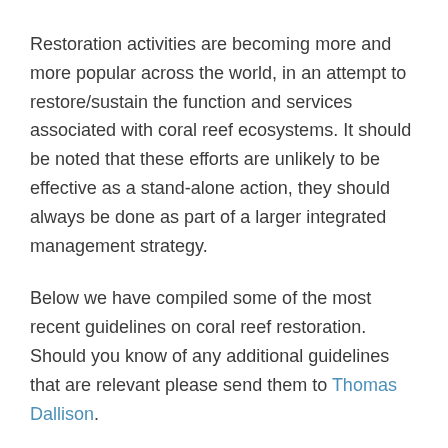Restoration activities are becoming more and more popular across the world, in an attempt to restore/sustain the function and services associated with coral reef ecosystems. It should be noted that these efforts are unlikely to be effective as a stand-alone action, they should always be done as part of a larger integrated management strategy.
Below we have compiled some of the most recent guidelines on coral reef restoration. Should you know of any additional guidelines that are relevant please send them to Thomas Dallison.